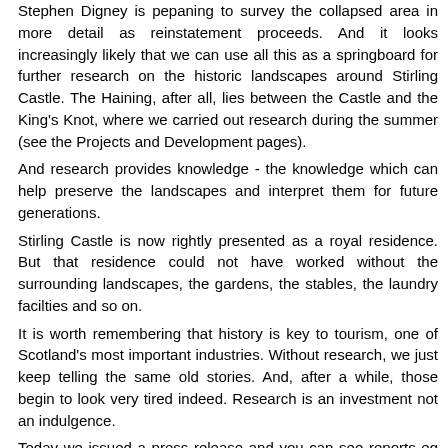Stephen Digney is pepaning to survey the collapsed area in more detail as reinstatement proceeds. And it looks increasingly likely that we can use all this as a springboard for further research on the historic landscapes around Stirling Castle. The Haining, after all, lies between the Castle and the King's Knot, where we carried out research during the summer (see the Projects and Development pages).
And research provides knowledge - the knowledge which can help preserve the landscapes and interpret them for future generations.
Stirling Castle is now rightly presented as a royal residence. But that residence could not have worked without the surrounding landscapes, the gardens, the stables, the laundry facilties and so on.
It is worth remembering that history is key to tourism, one of Scotland's most important industries. Without research, we just keep telling the same old stories. And, after a while, those begin to look very tired indeed. Research is an investment not an indulgence.
Today we issued a press release and you can see reports eg at http://www.bbc.co.uk/news/uk-scotland-tayside-central-16195566
We hope that shortly we will be announcing new initiatives to take this research further.